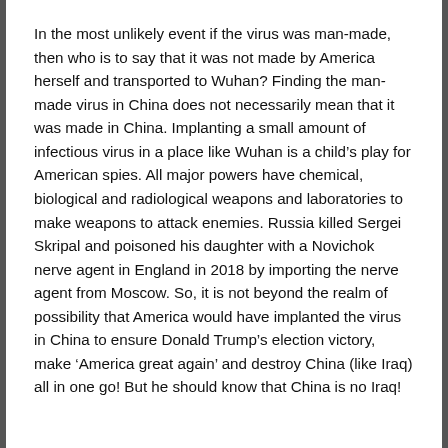In the most unlikely event if the virus was man-made, then who is to say that it was not made by America herself and transported to Wuhan? Finding the man-made virus in China does not necessarily mean that it was made in China. Implanting a small amount of infectious virus in a place like Wuhan is a child's play for American spies. All major powers have chemical, biological and radiological weapons and laboratories to make weapons to attack enemies. Russia killed Sergei Skripal and poisoned his daughter with a Novichok nerve agent in England in 2018 by importing the nerve agent from Moscow. So, it is not beyond the realm of possibility that America would have implanted the virus in China to ensure Donald Trump's election victory, make 'America great again' and destroy China (like Iraq) all in one go! But he should know that China is no Iraq!